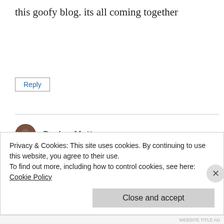this goofy blog. its all coming together
Reply
Dorian Mattar
May 15, 2014 at 4:04 am
Look you fucking eunuck, there is a reason why you don't have
Privacy & Cookies: This site uses cookies. By continuing to use this website, you agree to their use.
To find out more, including how to control cookies, see here:
Cookie Policy
Close and accept